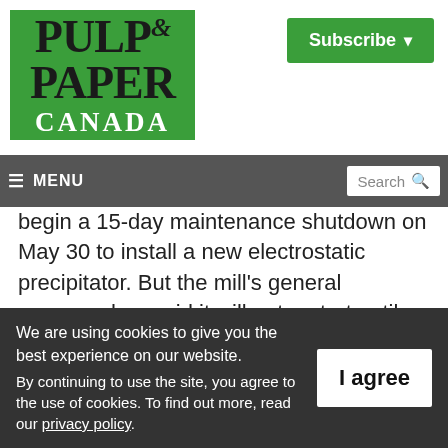[Figure (logo): Pulp & Paper Canada logo — green background with black serif text reading PULP & PAPER and white CANADA]
Subscribe ▾
≡ MENU   Search 🔍
begin a 15-day maintenance shutdown on May 30 to install a new electrostatic precipitator. But the mill's general manager has said it will not restart until the precipitator is operational, which could be in late June or
We are using cookies to give you the best experience on our website.
By continuing to use the site, you agree to the use of cookies. To find out more, read our privacy policy.
I agree